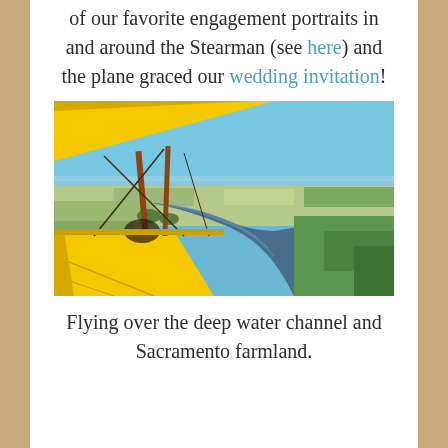of our favorite engagement portraits in and around the Stearman (see here) and the plane graced our wedding invitation!
[Figure (photo): Aerial view from a yellow biplane looking out over the Sacramento River deep water channel and farmland below, with blue sky above.]
Flying over the deep water channel and Sacramento farmland.